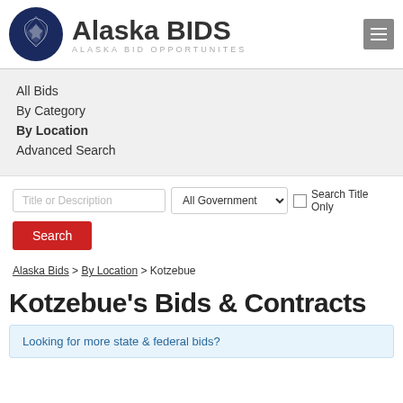[Figure (logo): Alaska BIDS logo with navy circle containing Alaska state outline and text 'Alaska BIDS / ALASKA BID OPPORTUNITES']
All Bids
By Category
By Location
Advanced Search
Title or Description | All Government ▾ ☐ Search Title Only
Search
Alaska Bids > By Location > Kotzebue
Kotzebue's Bids & Contracts
Looking for more state & federal bids?